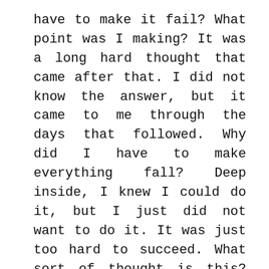have to make it fail? What point was I making? It was a long hard thought that came after that. I did not know the answer, but it came to me through the days that followed. Why did I have to make everything fall? Deep inside, I knew I could do it, but I just did not want to do it. It was just too hard to succeed. What sort of thought is this? Surely enough someone like me should always find enough strength to take the next step. Oh the word should.
The mind stages of grief
At first I was in denial. Surely, this was not happening. Someone made a mistake about sending me on this downward spiral and it would be soon course corrected.